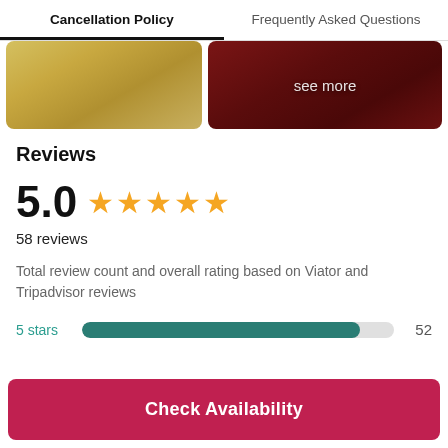Cancellation Policy	Frequently Asked Questions
[Figure (photo): Two photos: left shows food (tamales/breadsticks), right shows a person standing with 'see more' overlay]
Reviews
5.0 ★★★★★
58 reviews
Total review count and overall rating based on Viator and Tripadvisor reviews
5 stars  [bar]  52